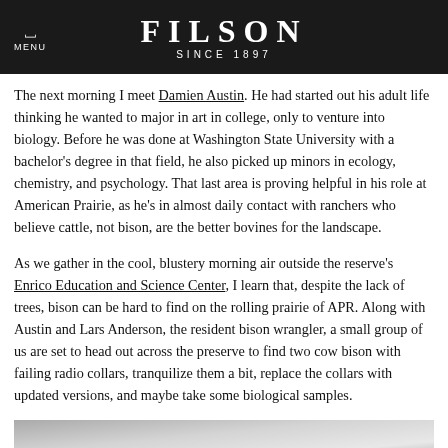FILSON SINCE 1897
The next morning I meet Damien Austin. He had started out his adult life thinking he wanted to major in art in college, only to venture into biology. Before he was done at Washington State University with a bachelor's degree in that field, he also picked up minors in ecology, chemistry, and psychology. That last area is proving helpful in his role at American Prairie, as he's in almost daily contact with ranchers who believe cattle, not bison, are the better bovines for the landscape.
As we gather in the cool, blustery morning air outside the reserve's Enrico Education and Science Center, I learn that, despite the lack of trees, bison can be hard to find on the rolling prairie of APR. Along with Austin and Lars Anderson, the resident bison wrangler, a small group of us are set to head out across the preserve to find two cow bison with failing radio collars, tranquilize them a bit, replace the collars with updated versions, and maybe take some biological samples.
[Figure (photo): Partial view of a landscape or outdoor scene, bottom of page]